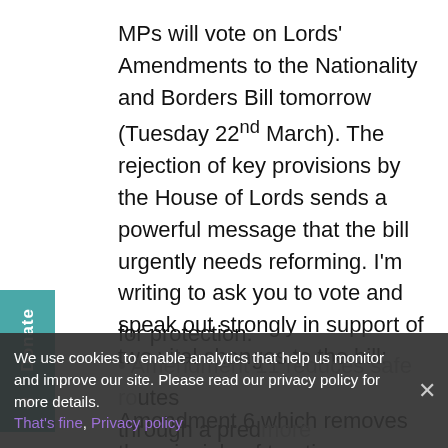MPs will vote on Lords' Amendments to the Nationality and Borders Bill tomorrow (Tuesday 22nd March). The rejection of key provisions by the House of Lords sends a powerful message that the bill urgently needs reforming. I'm writing to ask you to vote and speak out strongly in support of two vital changes to the bill: Amendment 6 which removes the principle of treating refugees differently based on how they arrive in the UK, rather than their need for protection. Amendment 11 reduces safe routes through a predetermined long-term global target to [number] per year.
[Figure (other): Teal/cyan coloured vertical donate tab with heart icon on left side of page]
We use cookies to enable analytics that help us monitor and improve our site. Please read our privacy policy for more details. That's fine. Privacy policy ×